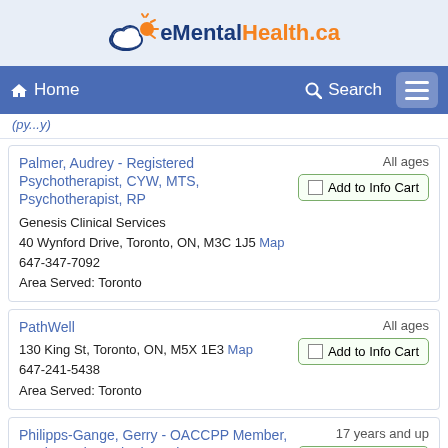eMentalHealth.ca
Home   Search
(py...y)
Palmer, Audrey - Registered Psychotherapist, CYW, MTS, Psychotherapist, RP
Genesis Clinical Services
40 Wynford Drive, Toronto, ON, M3C 1J5 Map
647-347-7092
Area Served: Toronto
All ages
Add to Info Cart
PathWell
130 King St, Toronto, ON, M5X 1E3 Map
647-241-5438
Area Served: Toronto
All ages
Add to Info Cart
Philipps-Gange, Gerry - OACCPP Member, Registered Psychotherapist,
17 years and up
Add to Info Cart